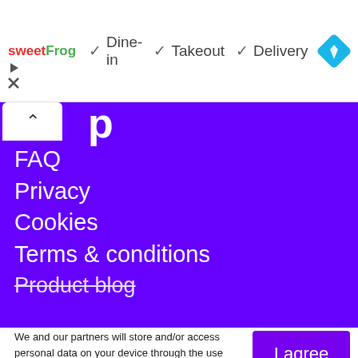[Figure (logo): sweetFrog logo in red and green text]
✓ Dine-in  ✓ Takeout  ✓ Delivery
[Figure (logo): Blue diamond navigation/directions icon]
[Figure (infographic): Small play and close icons below sweetFrog logo]
[Figure (screenshot): Purple navigation panel with collapse button and menu items]
FAQ
Privacy
Cookies
Terms & conditions
Product blog
We and our partners will store and/or access personal data on your device through the use of cookies and similar technologies, to display personalised ads, for ad and content measurement, audience insights and product development.
By clicking 'I agree,' you consent to this, or you can manage your preferences.